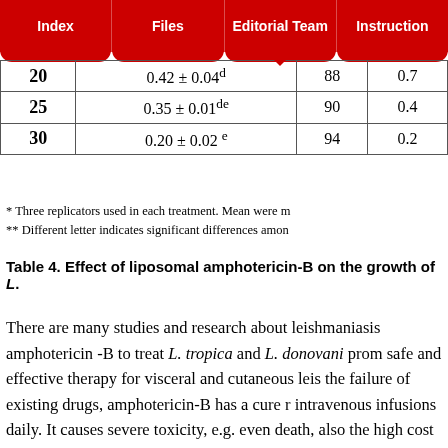Index | Files | Editorial Team | Instructions
| 20 | 0.42 ± 0.04d | 88 | 0.7 |
| 25 | 0.35 ± 0.01de | 90 | 0.4 |
| 30 | 0.20 ± 0.02 e | 94 | 0.2 |
* Three replicators used in each treatment. Mean were m
** Different letter indicates significant differences amon
Table 4. Effect of liposomal amphotericin-B on the growth of L.
There are many studies and research about leishmaniasis amphotericin -B to treat L. tropica and L. donovani prom safe and effective therapy for visceral and cutaneous leis the failure of existing drugs, amphotericin-B has a cure r intravenous infusions daily. It causes severe toxicity, e.g. even death, also the high cost of therapy. However, doses